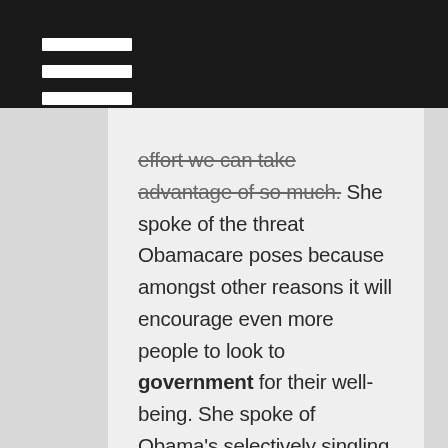effort we can take advantage of so much. She spoke of the threat Obamacare poses because amongst other reasons it will encourage even more people to look to government for their well-being. She spoke of Obama's selectively singling out for vilification certain of those who are financially successful.
It would behoove us to seek out persons who came here from socialist countries and ask them what their lives were like — we can